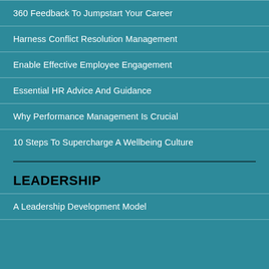360 Feedback To Jumpstart Your Career
Harness Conflict Resolution Management
Enable Effective Employee Engagement
Essential HR Advice And Guidance
Why Performance Management Is Crucial
10 Steps To Supercharge A Wellbeing Culture
LEADERSHIP
A Leadership Development Model